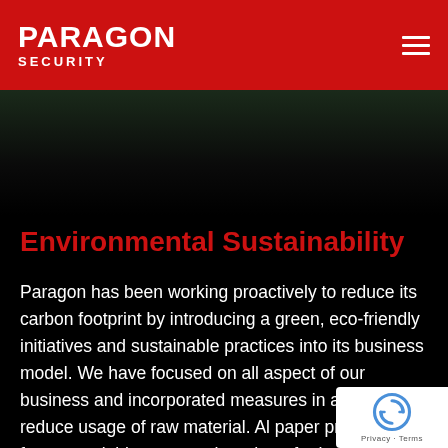PARAGON SECURITY
[Figure (photo): Dark background image with faint blue/green tones visible at the top, fading to black]
Environmental Sustainability
Paragon has been working proactively to reduce its carbon footprint by introducing a green, eco-friendly initiatives and sustainable practices into its business model. We have focused on all aspect of our business and incorporated measures in all areas to reduce usage of raw material. All paper products are from recyclable materials, such and are further sent for recycling.